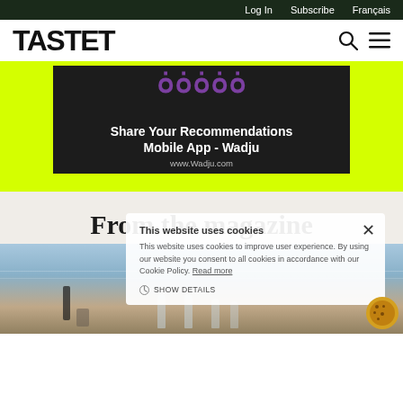Log In  Subscribe  Français
TASTET
[Figure (photo): Advertisement banner for Wadju mobile app showing purple curly symbols on dark background with text 'Share Your Recommendations Mobile App - Wadju' and 'www.Wadju.com', displayed on yellow/lime green background]
From the magazine
This website uses cookies
This website uses cookies to improve user experience. By using our website you consent to all cookies in accordance with our Cookie Policy. Read more
SHOW DETAILS
[Figure (photo): Outdoor waterfront dining table setting with glasses of wine and food, water and sky in background]